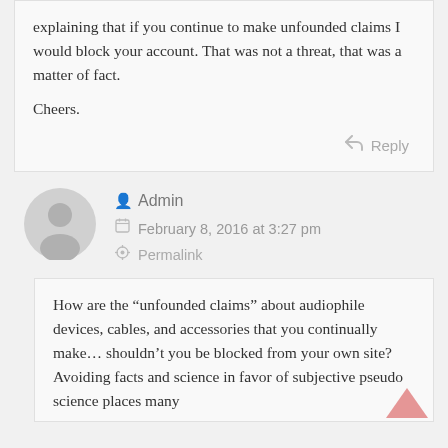explaining that if you continue to make unfounded claims I would block your account. That was not a threat, that was a matter of fact.

Cheers.
Reply
Admin
February 8, 2016 at 3:27 pm
Permalink
How are the “unfounded claims” about audiophile devices, cables, and accessories that you continually make… shouldn’t you be blocked from your own site? Avoiding facts and science in favor of subjective pseudo science places many